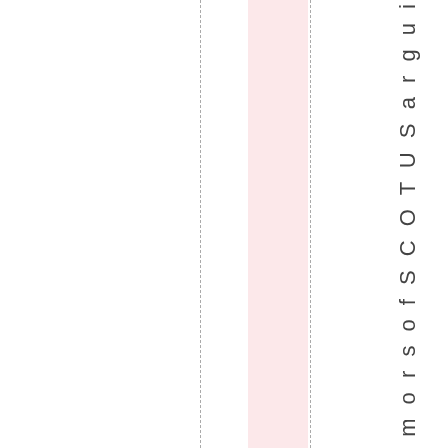y h e a r d r u m o r s o f S C O T U S a r g u i